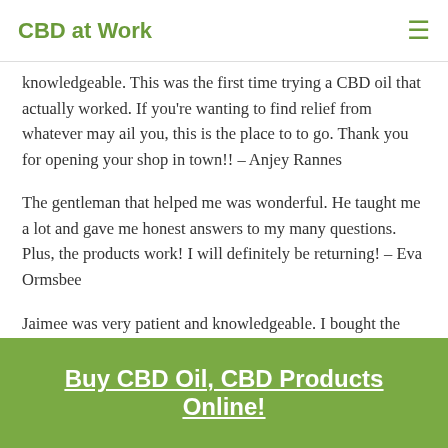CBD at Work
knowledgeable. This was the first time trying a CBD oil that actually worked. If you're wanting to find relief from whatever may ail you, this is the place to to go. Thank you for opening your shop in town!! – Anjey Rannes
The gentleman that helped me was wonderful. He taught me a lot and gave me honest answers to my many questions. Plus, the products work! I will definitely be returning! – Eva Ormsbee
Jaimee was very patient and knowledgeable. I bought the Broad Spectrum tincture orange flavor. I felt better with the first dose. I
Buy CBD Oil, CBD Products Online!